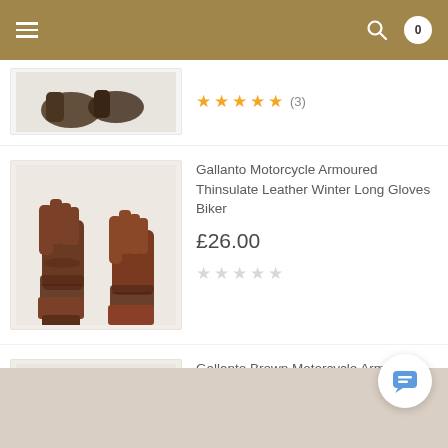Navigation header with menu, search, and cart (0 items)
[Figure (photo): Dark brown leather motorcycle gloves product image (partially visible at top)]
★★★★★ (3)
[Figure (photo): Brown leather Gallanto motorcycle armoured thinsulate winter long gloves]
Gallanto Motorcycle Armoured Thinsulate Leather Winter Long Gloves Biker
£26.00
☆☆☆☆☆
[Figure (photo): Dark brown leather Gallanto motorcycle armored thinsulate winter short gloves]
Gallanto Brown Motorcycle Armored Thinsulate Leather Winter Short Gloves Motorbike
£23.00 £30.00
★★★★★ (1)
VIEW ALL PRODUCTS >